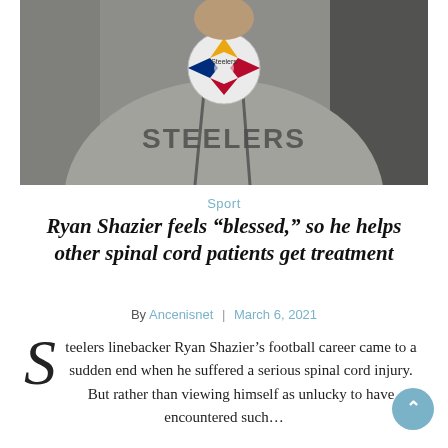[Figure (photo): Close-up photo of a person wearing a grey Pittsburgh Steelers hoodie sweatshirt with the Steelers logo visible on the chest]
Sport
Ryan Shazier feels “blessed,” so he helps other spinal cord patients get treatment
By Ancenisnet | March 6, 2021
Steelers linebacker Ryan Shazier’s football career came to a sudden end when he suffered a serious spinal cord injury. But rather than viewing himself as unlucky to have encountered such…